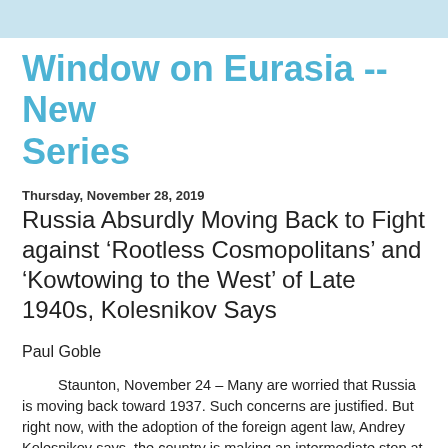Window on Eurasia -- New Series
Thursday, November 28, 2019
Russia Absurdly Moving Back to Fight against ‘Rootless Cosmopolitans’ and ‘Kowtowing to the West’ of Late 1940s, Kolesnikov Says
Paul Goble
Staunton, November 24 – Many are worried that Russia is moving back toward 1937. Such concerns are justified. But right now, with the adoption of the foreign agent law, Andrey Kolesnikov says, the country is making an intermediate stop at the years just after 1945, when Stalin launched his campaign against